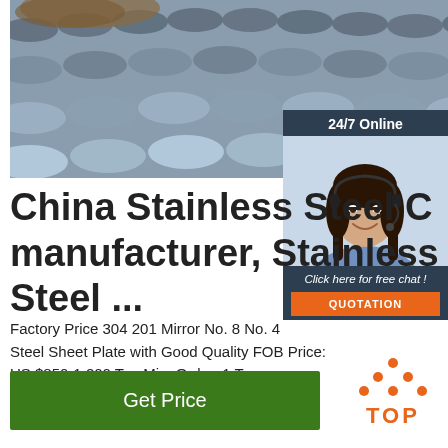[Figure (photo): Stacked stainless steel round bars/rods photographed from above at an angle, showing metallic grey cylindrical rods in a warehouse or yard setting.]
[Figure (photo): 24/7 Online customer service chat widget showing a smiling woman wearing a headset, with a 'Click here for free chat!' message and an orange QUOTATION button.]
China Stainless Steel C manufacturer, Stainless Steel ...
Factory Price 304 201 Mirror No. 8 No. 4 Steel Sheet Plate with Good Quality FOB Price: US $850-1,200 Ton Min. Order: 1 Ton
[Figure (other): Green 'Get Price' button]
[Figure (logo): Orange TOP icon with dots arranged in a triangle above the word TOP]